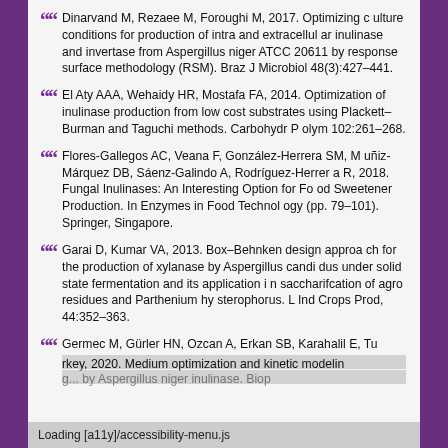Dinarvand M, Rezaee M, Foroughi M, 2017. Optimizing culture conditions for production of intra and extracellular inulinase and invertase from Aspergillus niger ATCC 20611 by response surface methodology (RSM). Braz J Microbiol 48(3):427–441.
El Aty AAA, Wehaidy HR, Mostafa FA, 2014. Optimization of inulinase production from low cost substrates using Plackett–Burman and Taguchi methods. Carbohydr Polym 102:261–268.
Flores-Gallegos AC, Veana F, González-Herrera SM, Muñiz-Márquez DB, Sáenz-Galindo A, Rodríguez-Herrera R, 2018. Fungal Inulinases: An Interesting Option for Food Sweetener Production. In Enzymes in Food Technology (pp. 79–101). Springer, Singapore.
Garai D, Kumar VA, 2013. Box–Behnken design approach for the production of xylanase by Aspergillus candidus under solid state fermentation and its application in saccharifcation of agro residues and Parthenium hysterophorus. L Ind Crops Prod, 44:352–363.
Germec M, Gürler HN, Ozcan A, Erkan SB, Karahalil E, Tu... and kinetic modelin... Aspergillus niger inulinase. Biop...
Loading [a11y]/accessibility-menu.js